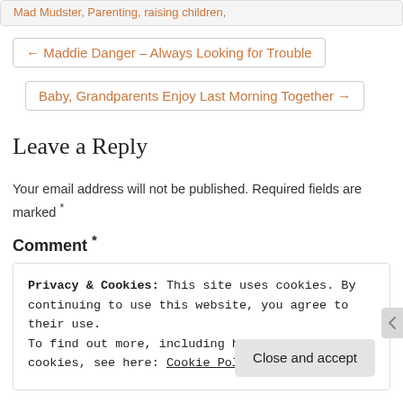Mad Mudster, Parenting, raising children,
← Maddie Danger – Always Looking for Trouble
Baby, Grandparents Enjoy Last Morning Together →
Leave a Reply
Your email address will not be published. Required fields are marked *
Comment *
Privacy & Cookies: This site uses cookies. By continuing to use this website, you agree to their use.
To find out more, including how to control cookies, see here: Cookie Policy
Close and accept